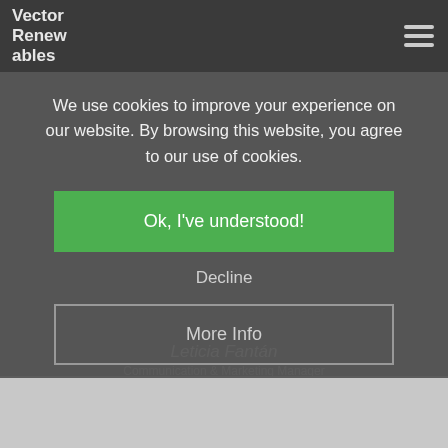[Figure (logo): Vector Renewables logo — white stylized text on dark background]
We use cookies to improve your experience on our website. By browsing this website, you agree to our use of cookies.
Ok, I've understood!
Decline
More Info
Leticia Fantán
Communication & Marketing Manager